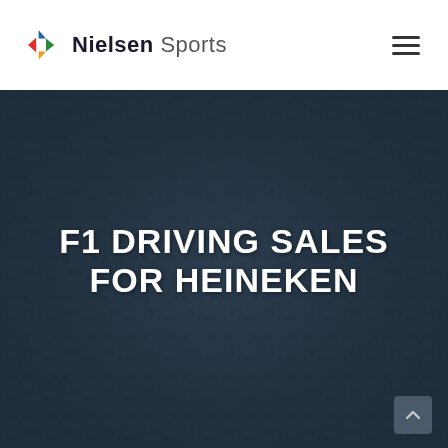[Figure (logo): Nielsen Sports logo with diamond/arrow icon in red, blue, yellow, green and bold text 'Nielsen Sports']
F1 DRIVING SALES FOR HEINEKEN